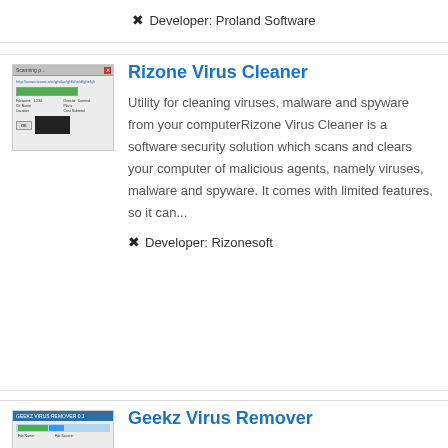✖ Developer: Proland Software
[Figure (screenshot): Screenshot of Rizone Virus Cleaner application window showing a progress bar and scan interface]
Rizone Virus Cleaner
Utility for cleaning viruses, malware and spyware from your computerRizone Virus Cleaner is a software security solution which scans and clears your computer of malicious agents, namely viruses, malware and spyware. It comes with limited features, so it can...
✖ Developer: Rizonesoft
[Figure (screenshot): Screenshot of Geekz Virus Remover application window]
Geekz Virus Remover